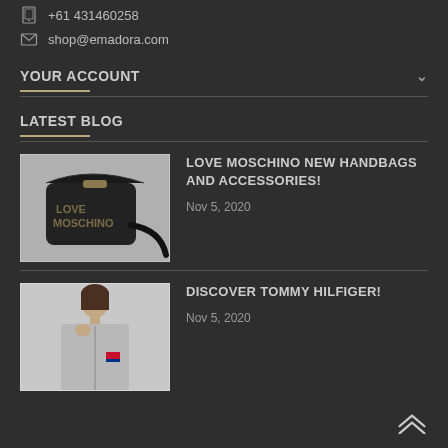+61 431460258
shop@emadora.com
YOUR ACCOUNT
LATEST BLOG
LOVE MOSCHINO NEW HANDBAGS AND ACCESSORIES!
Nov 5, 2020
[Figure (photo): Black Love Moschino crossbody handbag with gold studded logo letters on a light grey background]
DISCOVER TOMMY HILFIGER!
Nov 5, 2020
[Figure (photo): Woman wearing a light grey Tommy Hilfiger zip-up sweatshirt/jacket, hand near chin, on a white/grey background]